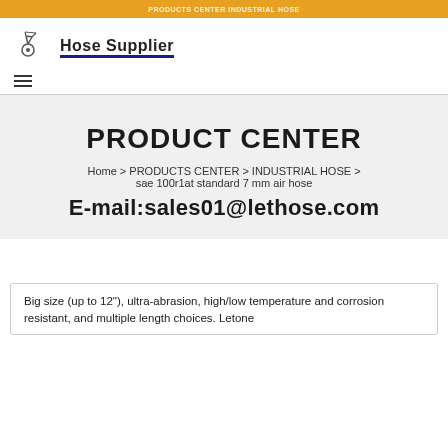PRODUCTS CENTER INDUSTRIAL HOSE
[Figure (logo): Hose Supplier logo with industrial equipment icon and blue underline]
PRODUCT CENTER
Home > PRODUCTS CENTER > INDUSTRIAL HOSE > sae 100r1at standard 7 mm air hose
E-mail:sales01@lethose.com
Big size (up to 12"), ultra-abrasion, high/low temperature and corrosion resistant, and multiple length choices. Letone